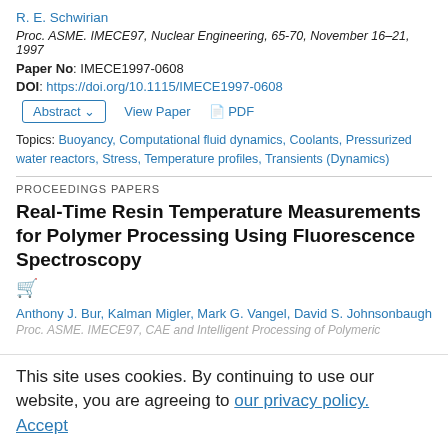R. E. Schwirian
Proc. ASME. IMECE97, Nuclear Engineering, 65-70, November 16–21, 1997
Paper No: IMECE1997-0608
DOI: https://doi.org/10.1115/IMECE1997-0608
Abstract  View Paper  PDF
Topics: Buoyancy, Computational fluid dynamics, Coolants, Pressurized water reactors, Stress, Temperature profiles, Transients (Dynamics)
PROCEEDINGS PAPERS
Real-Time Resin Temperature Measurements for Polymer Processing Using Fluorescence Spectroscopy
Anthony J. Bur, Kalman Migler, Mark G. Vangel, David S. Johnsonbaugh
Proc. ASME. IMECE97, CAE and Intelligent Processing of Polymeric
This site uses cookies. By continuing to use our website, you are agreeing to our privacy policy. Accept